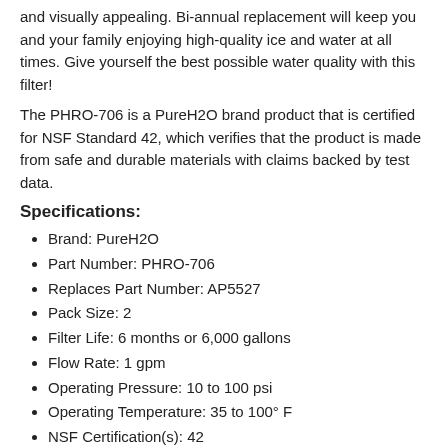and visually appealing. Bi-annual replacement will keep you and your family enjoying high-quality ice and water at all times. Give yourself the best possible water quality with this filter!
The PHRO-706 is a PureH2O brand product that is certified for NSF Standard 42, which verifies that the product is made from safe and durable materials with claims backed by test data.
Specifications:
Brand: PureH2O
Part Number: PHRO-706
Replaces Part Number: AP5527
Pack Size: 2
Filter Life: 6 months or 6,000 gallons
Flow Rate: 1 gpm
Operating Pressure: 10 to 100 psi
Operating Temperature: 35 to 100° F
NSF Certification(s): 42
$49.99 ea
Quantity  1
Add to Cart